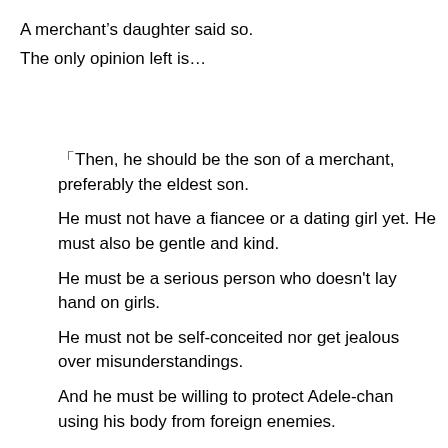A merchant's daughter said so.
The only opinion left is…
「Then, he should be the son of a merchant, preferably the eldest son.
He must not have a fiancee or a dating girl yet. He must also be gentle and kind.
He must be a serious person who doesn't lay hand on girls.
He must not be self-conceited nor get jealous over misunderstandings.
And he must be willing to protect Adele-chan using his body from foreign enemies.
That's how that boy should be.
Because he is in class A, he should have considerably